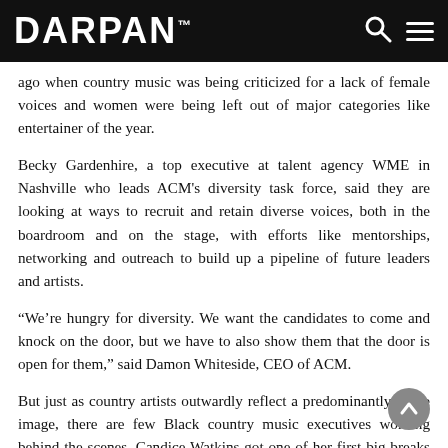DARPAN™
ago when country music was being criticized for a lack of female voices and women were being left out of major categories like entertainer of the year.
Becky Gardenhire, a top executive at talent agency WME in Nashville who leads ACM's diversity task force, said they are looking at ways to recruit and retain diverse voices, both in the boardroom and on the stage, with efforts like mentorships, networking and outreach to build up a pipeline of future leaders and artists.
“We’re hungry for diversity. We want the candidates to come and knock on the door, but we have to also show them that the door is open for them,” said Damon Whiteside, CEO of ACM.
But just as country artists outwardly reflect a predominantly white image, there are few Black country music executives working behind the scenes. Candice Watkins got one of her first big breaks in country music working as the day-to-day manager for Keith Urban between 2009 and 2011.
“That changed my life because obviously he’s a superstar,” said Watkins, who is now the vice-president for marketing for Big Loud Records, whose roster includes Jake Owen and